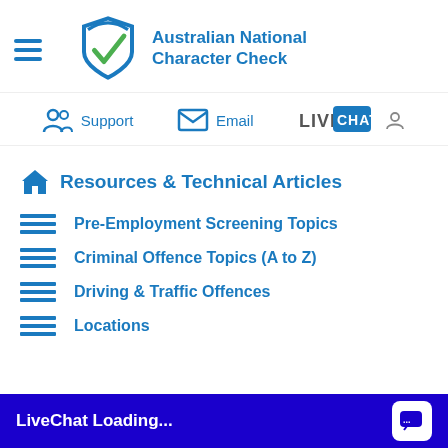[Figure (logo): Australian National Character Check logo with shield and checkmark icon in blue and green, with text 'Australian National Character Check' in blue]
[Figure (infographic): Navigation bar with Support (people icon), Email (envelope icon), and LiveChat (LiveChat logo with person icon) links in blue]
Resources & Technical Articles
Pre-Employment Screening Topics
Criminal Offence Topics (A to Z)
Driving & Traffic Offences
Locations
LiveChat Loading...